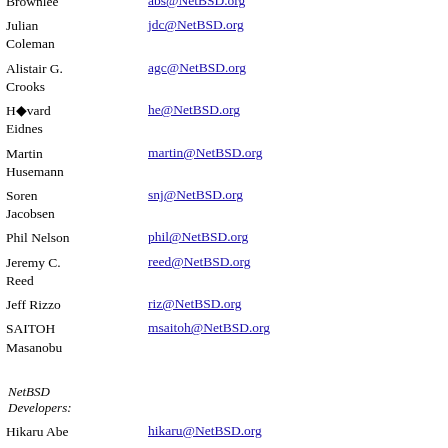Brownlee — abs@NetBSD.org
Julian Coleman — jdc@NetBSD.org
Alistair G. Crooks — agc@NetBSD.org
H�vard Eidnes — he@NetBSD.org
Martin Husemann — martin@NetBSD.org
Soren Jacobsen — snj@NetBSD.org
Phil Nelson — phil@NetBSD.org
Jeremy C. Reed — reed@NetBSD.org
Jeff Rizzo — riz@NetBSD.org
SAITOH Masanobu — msaitoh@NetBSD.org
NetBSD Developers:
Hikaru Abe — hikaru@NetBSD.org
Nathan ...